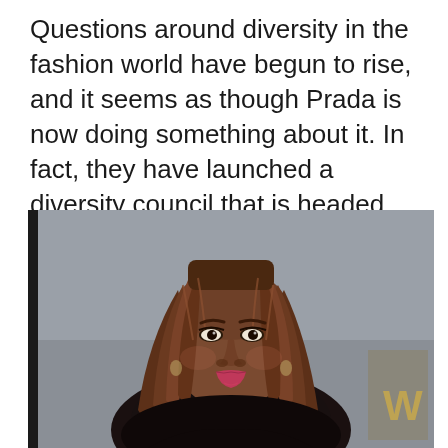Questions around diversity in the fashion world have begun to rise, and it seems as though Prada is now doing something about it. In fact, they have launched a diversity council that is headed up by Ava DuVernay.
[Figure (photo): A woman with long locs/dreadlocks wearing a black lace outfit, smiling slightly, with a gray background and a partially visible gold logo on the right side.]